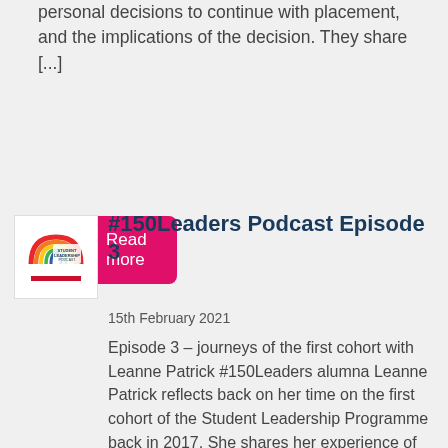personal decisions to continue with placement, and the implications of the decision. They share [...]
Read more
[Figure (logo): Student Leadership Podcast logo with rainbow arc and text]
#150Leaders Podcast Episode 3
15th February 2021
Episode 3 – journeys of the first cohort with Leanne Patrick #150Leaders alumna Leanne Patrick reflects back on her time on the first cohort of the Student Leadership Programme back in 2017. She shares her experience of the programme, what she